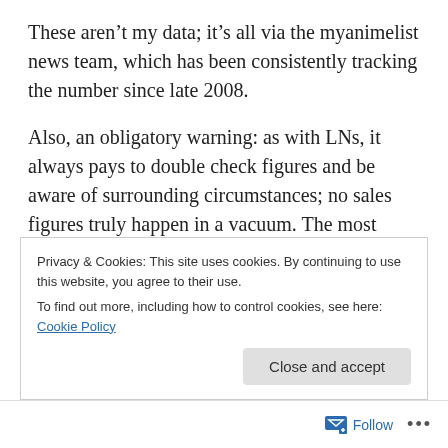These aren't my data; it's all via the myanimelist news team, which has been consistently tracking the number since late 2008.
Also, an obligatory warning: as with LNs, it always pays to double check figures and be aware of surrounding circumstances; no sales figures truly happen in a vacuum. The most obvious examples are stuff like a series coming out in the last day of a tracking week and splitting sales that otherwise would have charted into 2 smaller, "invisible" chunks. Manga chart thresholds are high
Privacy & Cookies: This site uses cookies. By continuing to use this website, you agree to their use.
To find out more, including how to control cookies, see here: Cookie Policy
Close and accept
Follow